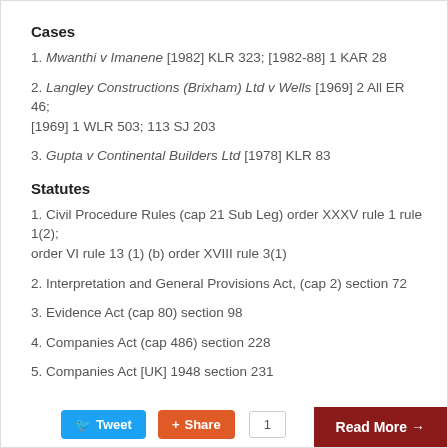Cases
1. Mwanthi v Imanene [1982] KLR 323; [1982-88] 1 KAR 28
2. Langley Constructions (Brixham) Ltd v Wells [1969] 2 All ER 46; [1969] 1 WLR 503; 113 SJ 203
3. Gupta v Continental Builders Ltd [1978] KLR 83
Statutes
1. Civil Procedure Rules (cap 21 Sub Leg) order XXXV rule 1 rule 1(2); order VI rule 13 (1) (b) order XVIII rule 3(1)
2. Interpretation and General Provisions Act, (cap 2) section 72
3. Evidence Act (cap 80) section 98
4. Companies Act (cap 486) section 228
5. Companies Act [UK] 1948 section 231